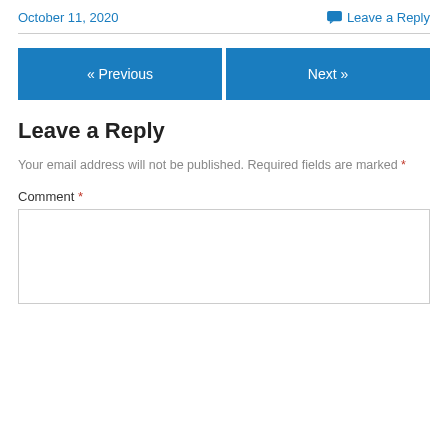October 11, 2020
Leave a Reply
« Previous
Next »
Leave a Reply
Your email address will not be published. Required fields are marked *
Comment *